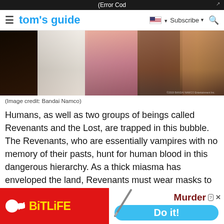(Error Cod
tom's guide  Subscribe
[Figure (photo): Game characters from Code Vein showing various armored figures in fantasy costumes]
(Image credit: Bandai Namco)
Humans, as well as two groups of beings called Revenants and the Lost, are trapped in this bubble. The Revenants, who are essentially vampires with no memory of their pasts, hunt for human blood in this dangerous hierarchy. As a thick miasma has enveloped the land, Revenants must wear masks to survive. If this miasma consumes them, the Revenants become mindless monsters, otherwise known as the Lost.
[Figure (screenshot): BitLife advertisement banner with red background showing BitLife logo with sperm icon, and Murder Do it! call to action on white background]